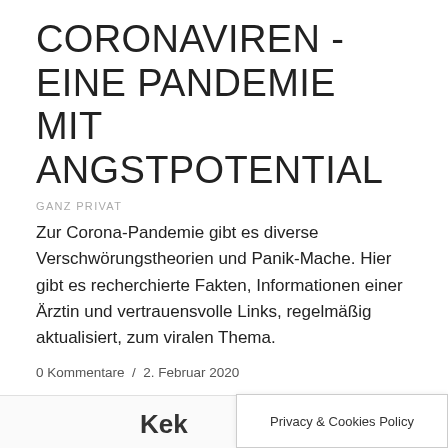CORONAVIREN - EINE PANDEMIE MIT ANGSTPOTENTIAL
GANZ PRIVAT
Zur Corona-Pandemie gibt es diverse Verschwörungstheorien und Panik-Mache. Hier gibt es recherchierte Fakten, Informationen einer Ärztin und vertrauensvolle Links, regelmäßig aktualisiert, zum viralen Thema.
0 Kommentare / 2. Februar 2020
Privacy & Cookies Policy